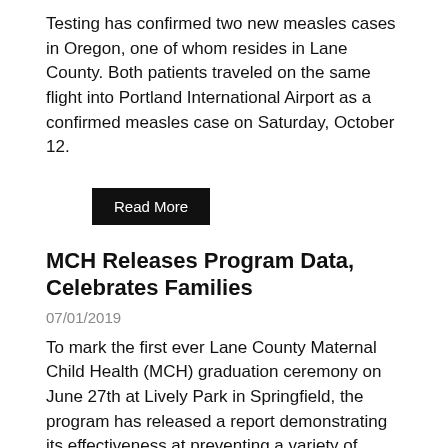Testing has confirmed two new measles cases in Oregon, one of whom resides in Lane County. Both patients traveled on the same flight into Portland International Airport as a confirmed measles case on Saturday, October 12.
Read More
MCH Releases Program Data, Celebrates Families
07/01/2019
To mark the first ever Lane County Maternal Child Health (MCH) graduation ceremony on June 27th at Lively Park in Springfield, the program has released a report demonstrating its effectiveness at preventing a variety of negative health outcomes and social